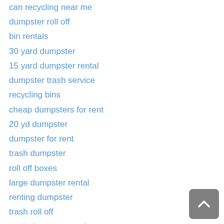can recycling near me
dumpster roll off
bin rentals
30 yard dumpster
15 yard dumpster rental
dumpster trash service
recycling bins
cheap dumpsters for rent
20 yd dumpster
dumpster for rent
trash dumpster
roll off boxes
large dumpster rental
renting dumpster
trash roll off
trash dumpster service
dumpster in a bag
the dumpster
roll off bin